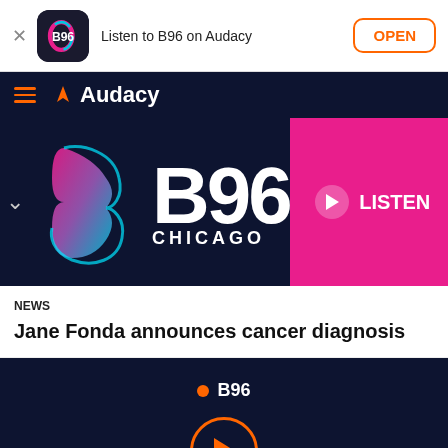[Figure (screenshot): App install banner with B96 icon and 'Listen to B96 on Audacy' text and OPEN button]
Audacy navigation bar with hamburger menu and Audacy logo
[Figure (logo): B96 Chicago radio station logo with colorful swirl B graphic and LISTEN button]
NEWS
Jane Fonda announces cancer diagnosis
[Figure (screenshot): Bottom player bar showing B96 station with orange dot, station name, and large orange play button]